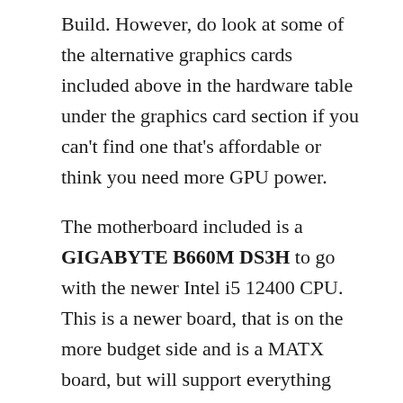Build. However, do look at some of the alternative graphics cards included above in the hardware table under the graphics card section if you can't find one that's affordable or think you need more GPU power.
The motherboard included is a GIGABYTE B660M DS3H to go with the newer Intel i5 12400 CPU. This is a newer board, that is on the more budget side and is a MATX board, but will support everything included and supports overclocking. Here are the specifications (for the full specifications, please visit gigabyte.com):
Supports 12th Gen Intel® Core™ Series